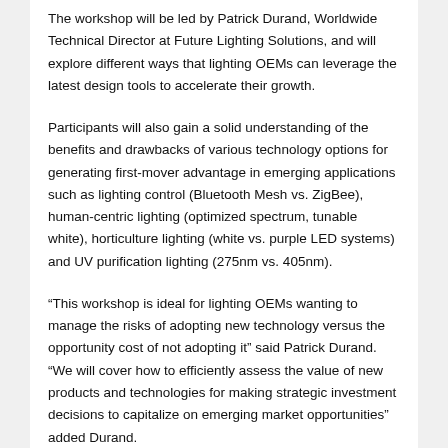The workshop will be led by Patrick Durand, Worldwide Technical Director at Future Lighting Solutions, and will explore different ways that lighting OEMs can leverage the latest design tools to accelerate their growth.
Participants will also gain a solid understanding of the benefits and drawbacks of various technology options for generating first-mover advantage in emerging applications such as lighting control (Bluetooth Mesh vs. ZigBee), human-centric lighting (optimized spectrum, tunable white), horticulture lighting (white vs. purple LED systems) and UV purification lighting (275nm vs. 405nm).
“This workshop is ideal for lighting OEMs wanting to manage the risks of adopting new technology versus the opportunity cost of not adopting it” said Patrick Durand. “We will cover how to efficiently assess the value of new products and technologies for making strategic investment decisions to capitalize on emerging market opportunities” added Durand.
Click here to register for the FLS Growth Strategies